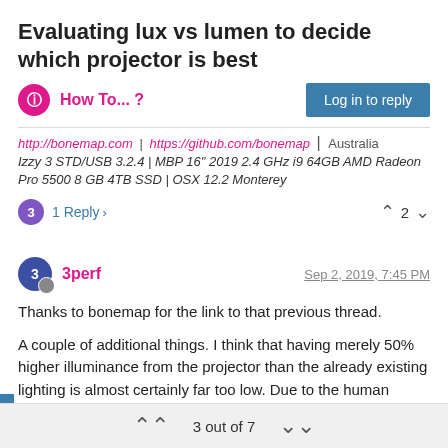Evaluating lux vs lumen to decide which projector is best
How To... ?
http://bonemap.com | https://github.com/bonemap | Australia
Izzy 3 STD/USB 3.2.4 | MBP 16" 2019 2.4 GHz i9 64GB AMD Radeon Pro 5500 8 GB 4TB SSD | OSX 12.2 Monterey
1 Reply  ›    2
3perf  Sep 2, 2019, 7:45 PM
Thanks to bonemap for the link to that previous thread.
A couple of additional things. I think that having merely 50% higher illuminance from the projector than the already existing lighting is almost certainly far too low. Due to the human visual system's inherent nonlinearity (see Aolis' post), the 50% brighter won't actually look 50% brighter; it'll look 20% brighter at best. If you have any degree of control over the lighting in the venue
3 out of 7